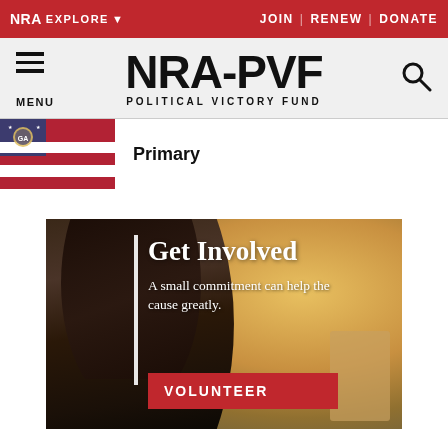NRA EXPLORE ▾ JOIN | RENEW | DONATE
[Figure (logo): NRA-PVF Political Victory Fund logo with menu icon and search icon on gray header bar]
[Figure (photo): Georgia state flag thumbnail]
Primary
[Figure (photo): Get Involved banner: woman holding clipboard outdoors with warm bokeh background. Text: Get Involved. A small commitment can help the cause greatly. VOLUNTEER button.]